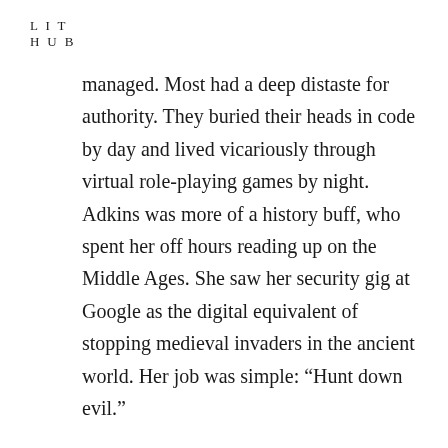L I T
H U B
managed. Most had a deep distaste for authority. They buried their heads in code by day and lived vicariously through virtual role-playing games by night. Adkins was more of a history buff, who spent her off hours reading up on the Middle Ages. She saw her security gig at Google as the digital equivalent of stopping medieval invaders in the ancient world. Her job was simple: “Hunt down evil.”